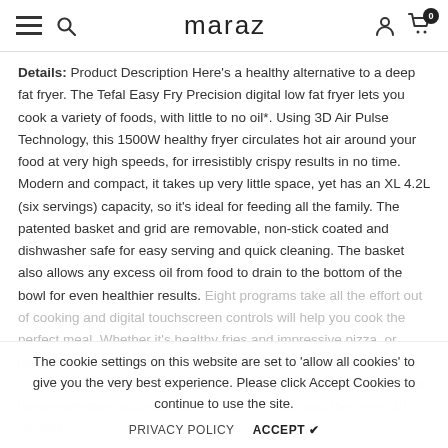maraz
Details: Product Description Here's a healthy alternative to a deep fat fryer. The Tefal Easy Fry Precision digital low fat fryer lets you cook a variety of foods, with little to no oil*. Using 3D Air Pulse Technology, this 1500W healthy fryer circulates hot air around your food at very high speeds, for irresistibly crispy results in no time. Modern and compact, it takes up very little space, yet has an XL 4.2L (six servings) capacity, so it's ideal for feeding all the family. The patented basket and grid are removable, non-stick coated and dishwasher safe for easy serving and quick cleaning. The basket also allows any excess oil from food to drain to the bottom of the bowl for even healthier results. Eight programs take all the effort out of cooking and digital touchscreen controls will help you cook the perfect meal. Whether it's healthy fries and impressive pizza, or great takeaway favourites, roast potatoes, moist mains, grilled meat or crispy spring rolls, the versatile Easy Fry Precision lets you preset and adjust the temperature automatically (5°C increments) and the timer (30 seconds
The cookie settings on this website are set to 'allow all cookies' to give you the very best experience. Please click Accept Cookies to continue to use the site.